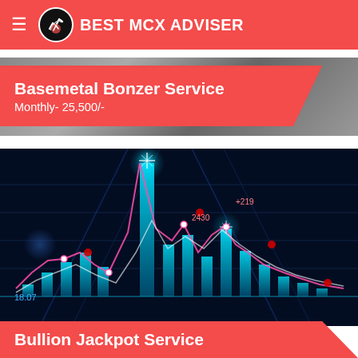BEST MCX ADVISER
Basemetal Bonzer Service
Monthly- 25,500/-
[Figure (illustration): Financial trading chart illustration with cyan/blue bar charts and pink/white line overlays on a dark blue background, showing market data visualization with glowing neon lights effect. Numbers visible: 18.07, +219, 2430]
Bullion Jackpot Service